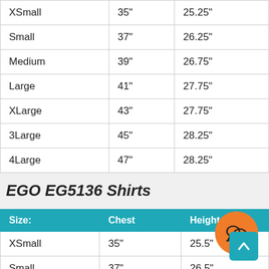| XSmall | 35" | 25.25" |
| Small | 37" | 26.25" |
| Medium | 39" | 26.75" |
| Large | 41" | 27.75" |
| XLarge | 43" | 27.75" |
| 3Large | 45" | 28.25" |
| 4Large | 47" | 28.25" |
EGO EG5136 Shirts
| Size: | Chest | Height |
| --- | --- | --- |
| XSmall | 35" | 25.5" |
| Small | 37" | 26.5" |
| Medium | 39" | 27" |